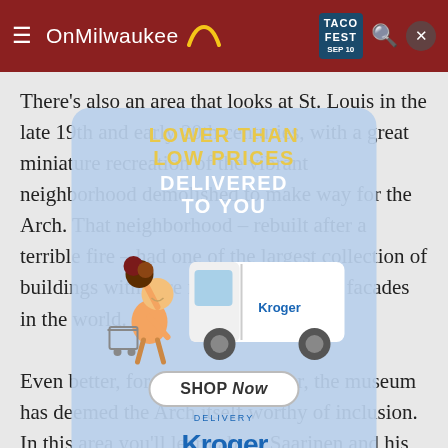OnMilwaukee — navigation bar with hamburger menu, logo, Taco Fest badge (SEP 10), search and close icons
There's also an area that looks at St. Louis in the late 19th and early 20th centuries, with a great miniature recreation of the vibrant neighborhood demolished to make way for the Arch. That neighborhood – rebuilt after a terrible fire – had one of the largest collection of buildings with (fire resistant) cast iron facades in the world.
[Figure (advertisement): Kroger Delivery advertisement overlay. Bold yellow text 'LOWER THAN LOW PRICES' and white text 'DELIVERED TO YOU'. Animated characters with a Kroger delivery van. 'SHOP Now' button. Kroger Delivery logo. Pick'n Save and metro market logos at bottom.]
Even better, for the first time ever, the museum has deemed the Arch itself worthy of inclusion. In this area you'll learn about Saarinen and his works, you'll get to see the models that architects submitted to the competition to create a monument on the Mississippi Riverfront in St.